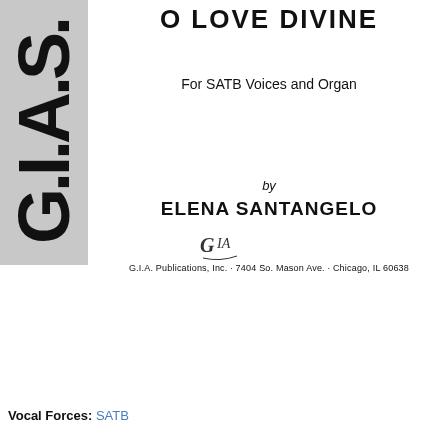[Figure (logo): G.I.A. Publications logo in vertical orientation on gray background, styled as 'G.I.A.S.' in large bold black letters]
O LOVE DIVINE
For SATB Voices and Organ
by
ELENA SANTANGELO
[Figure (logo): GIA Publications handwritten-style logo/monogram]
G.I.A. Publications, Inc. · 7404 So. Mason Ave. · Chicago, IL 60638
Vocal Forces: SATB